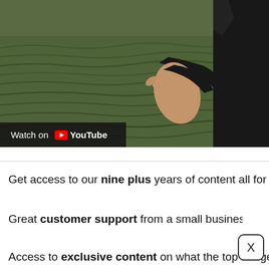[Figure (photo): Video thumbnail showing a person in a black jacket with hand extended over grass, with a 'Watch on YouTube' overlay bar at the bottom left]
Get access to our nine plus years of content all for a few d...
Great customer support from a small business friendly te...
Access to exclusive content on what the top hedge funds...